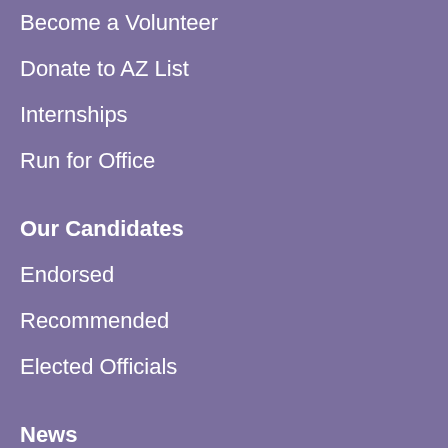Become a Volunteer
Donate to AZ List
Internships
Run for Office
Our Candidates
Endorsed
Recommended
Elected Officials
News
AZ List in the News
Press Release
Blog
Events
Videos